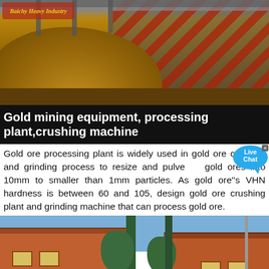[Figure (photo): Mining processing plant with conveyor structures, red metal framework, and large pile of gold-brown ore/earth in foreground]
Gold mining equipment, processing plant,crushing machine
Gold ore processing plant is widely used in gold ore crushing and grinding process to resize and pulverize gold ores into 10mm to smaller than 1mm particles. As gold ore"s VHN hardness is between 60 and 105, design gold ore crushing plant and grinding machine that can process gold ore.
[Figure (photo): Industrial green metal cyclone dust collector and pipe machinery installed outside brick buildings under blue sky, with a person in red nearby]